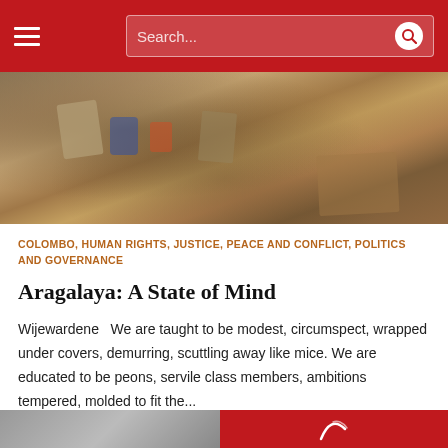Search...
[Figure (photo): Photo of a cluttered table with various objects, cans, and materials in an earthy-toned environment.]
COLOMBO, HUMAN RIGHTS, JUSTICE, PEACE AND CONFLICT, POLITICS AND GOVERNANCE
Aragalaya: A State of Mind
Wijewardene  We are taught to be modest, circumspect, wrapped under covers, demurring, scuttling away like mice. We are educated to be peons, servile class members, ambitions tempered, molded to fit the...
INDRAN AMIRTHANAYAGAM  on 08/02/2022